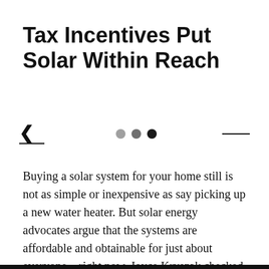Tax Incentives Put Solar Within Reach
[Figure (other): Navigation bar with back chevron arrow with underline, three dots (light gray, medium gray, dark/black) as page indicators, and a forward line on the right]
Buying a solar system for your home still is not as simple or inexpensive as say picking up a new water heater. But solar energy advocates argue that the systems are affordable and obtainable for just about everyone – right now. Joyce Kryszak checked out that claim: